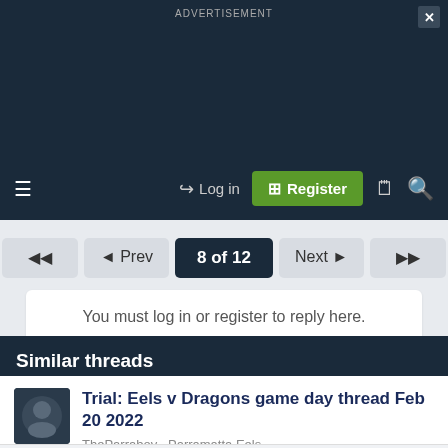ADVERTISEMENT
Log in  Register
8 of 12  ◀◀  ◄ Prev  Next ►  ▶▶
You must log in or register to reply here.
Similar threads
Trial: Eels v Dragons game day thread Feb 20 2022
TheParraboy · Parramatta Eels
Replies: 286 · Feb 23, 2022
Share: